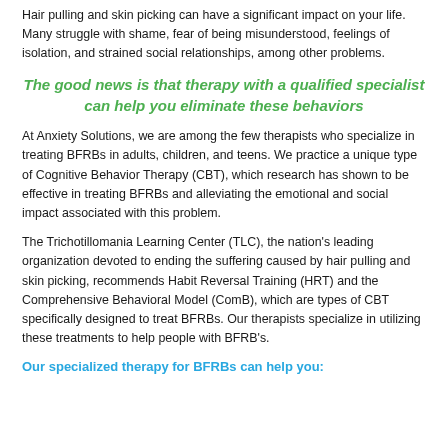Hair pulling and skin picking can have a significant impact on your life. Many struggle with shame, fear of being misunderstood, feelings of isolation, and strained social relationships, among other problems.
The good news is that therapy with a qualified specialist
can help you eliminate these behaviors
At Anxiety Solutions, we are among the few therapists who specialize in treating BFRBs in adults, children, and teens. We practice a unique type of Cognitive Behavior Therapy (CBT), which research has shown to be effective in treating BFRBs and alleviating the emotional and social impact associated with this problem.
The Trichotillomania Learning Center (TLC), the nation's leading organization devoted to ending the suffering caused by hair pulling and skin picking, recommends Habit Reversal Training (HRT) and the Comprehensive Behavioral Model (ComB), which are types of CBT specifically designed to treat BFRBs. Our therapists specialize in utilizing these treatments to help people with BFRB's.
Our specialized therapy for BFRBs can help you: